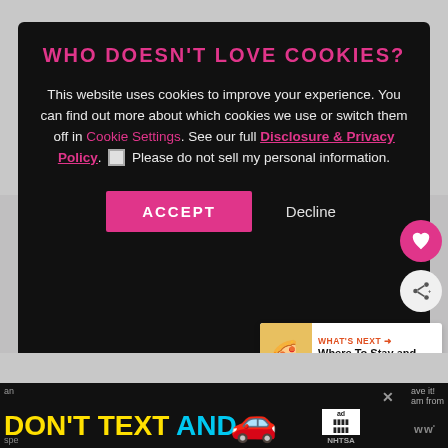WHO DOESN'T LOVE COOKIES?
This website uses cookies to improve your experience. You can find out more about which cookies we use or switch them off in Cookie Settings. See our full Disclosure & Privacy Policy. ☐ Please do not sell my personal information.
ACCEPT   Decline
[Figure (screenshot): What's Next panel showing food image with text 'Where To Stay and Eat in...']
[Figure (screenshot): Bottom advertisement bar: DON'T TEXT AND [car emoji] NHTSA ad]